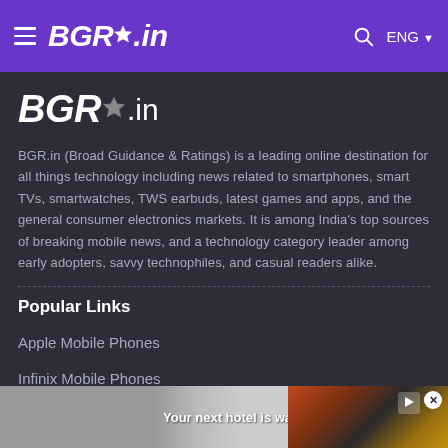BGR.in — Navigation bar with hamburger menu, logo, search icon, and ENG language selector
[Figure (logo): BGR.in logo in white on dark background content area]
BGR.in (Broad Guidance & Ratings) is a leading online destination for all things technology including news related to smartphones, smart TVs, smartwatches, TWS earbuds, latest games and apps, and the general consumer electronics markets. It is among India's top sources of breaking mobile news, and a technology category leader among early adopters, savvy technophiles, and casual readers alike.
Popular Links
Apple Mobile Phones
Infinix Mobile Phones
Motorola Mobile Phones
[Figure (screenshot): Advertisement banner at bottom: Your next hotel is waiting for you]